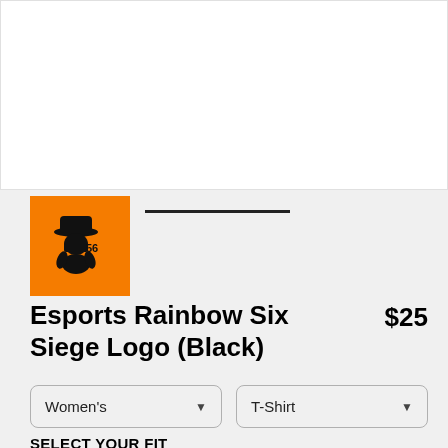[Figure (photo): White product image area (shirt preview area, blank white)]
[Figure (logo): Orange square logo with black cowboy/bandit figure and text, brand logo]
Esports Rainbow Six Siege Logo (Black)
$25
Women's
T-Shirt
SELECT YOUR FIT
$20
Fitted
$20
Regular Unisex